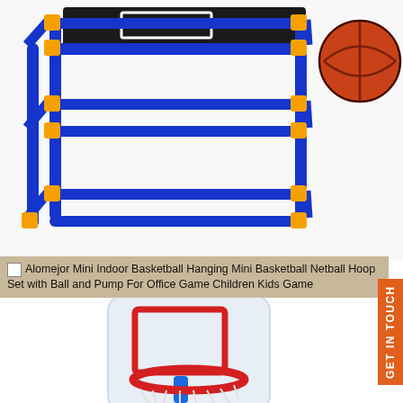[Figure (photo): Mini indoor basketball arcade frame structure with blue PVC pipes, orange connectors, black backboard at top, and a basketball shown in upper right corner]
Alomejor Mini Indoor Basketball Hanging Mini Basketball Netball Hoop Set with Ball and Pump For Office Game Children Kids Game
[Figure (photo): Children's basketball hoop stand with white transparent backboard, red rectangular target box, red rim with white net, and blue pole]
GET IN TOUCH